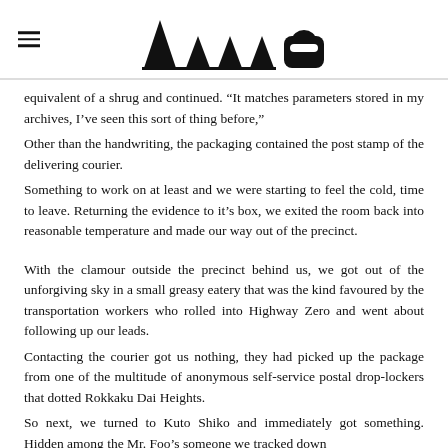[hamburger menu icon] [logo: four triangles and a shape]
equivalent of a shrug and continued. “It matches parameters stored in my archives, I’ve seen this sort of thing before,”
Other than the handwriting, the packaging contained the post stamp of the delivering courier.
Something to work on at least and we were starting to feel the cold, time to leave. Returning the evidence to it’s box, we exited the room back into reasonable temperature and made our way out of the precinct.
With the clamour outside the precinct behind us, we got out of the unforgiving sky in a small greasy eatery that was the kind favoured by the transportation workers who rolled into Highway Zero and went about following up our leads.
Contacting the courier got us nothing, they had picked up the package from one of the multitude of anonymous self-service postal drop-lockers that dotted Rokkaku Dai Heights.
So next, we turned to Kuto Shiko and immediately got something. Hidden among the Mr. Foo’s someone we tracked down